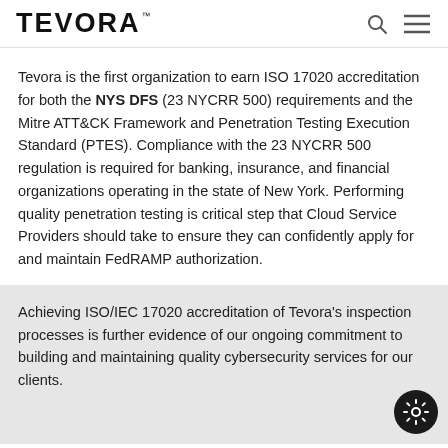TEVORA
Tevora is the first organization to earn ISO 17020 accreditation for both the NYS DFS (23 NYCRR 500) requirements and the Mitre ATT&CK Framework and Penetration Testing Execution Standard (PTES). Compliance with the 23 NYCRR 500 regulation is required for banking, insurance, and financial organizations operating in the state of New York. Performing quality penetration testing is critical step that Cloud Service Providers should take to ensure they can confidently apply for and maintain FedRAMP authorization.
Achieving ISO/IEC 17020 accreditation of Tevora's inspection processes is further evidence of our ongoing commitment to building and maintaining quality cybersecurity services for our clients.